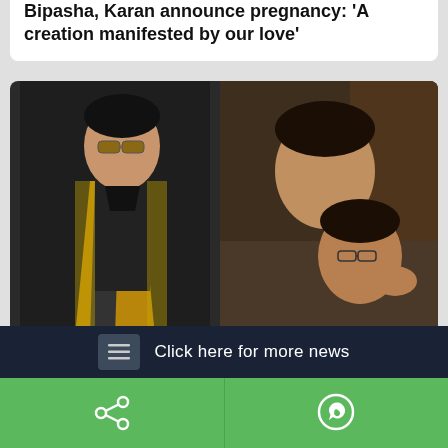Bipasha, Karan announce pregnancy: 'A creation manifested by our love'
[Figure (photo): Two photos side by side: left shows Karan Johar in a black and gold blazer with sunglasses; right shows Karan Johar and Ayan Mukerji leaning on each other on a couch]
KJo feels as protective about Ayan Mukerji as for his twins Roohi, Yash
Click here for more news
Share and WhatsApp action buttons